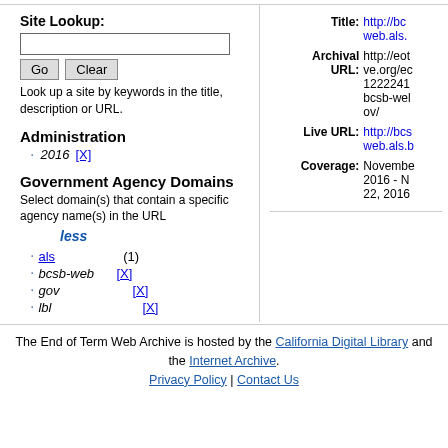Site Lookup:
Look up a site by keywords in the title, description or URL.
Administration
2016 [X]
Government Agency Domains
Select domain(s) that contain a specific agency name(s) in the URL
als (1)
bcsb-web [X]
gov [X]
lbl [X]
Title: http://bc web.als.
Archival URL: http://eot ve.org/ec 1222241 bcsb-wel ov/
Live URL: http://bcs web.als.b
Coverage: November 2016 - N 22, 2016
The End of Term Web Archive is hosted by the California Digital Library and the Internet Archive. Privacy Policy | Contact Us